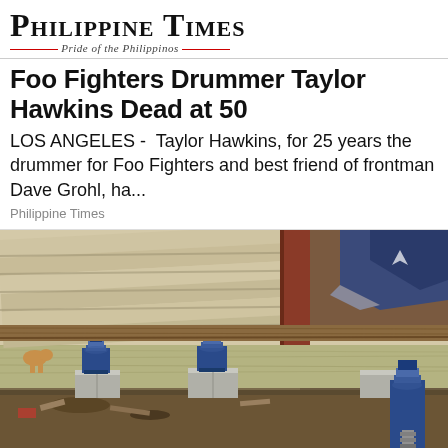Philippine Times — Pride of the Philippinos
Foo Fighters Drummer Taylor Hawkins Dead at 50
LOS ANGELES -  Taylor Hawkins, for 25 years the drummer for Foo Fighters and best friend of frontman Dave Grohl, ha...
Philippine Times
[Figure (photo): Construction/foundation repair photo showing the underside of a house being lifted with hydraulic jacks on concrete blocks, with wooden beams and siding visible. Trees visible in background on left.]